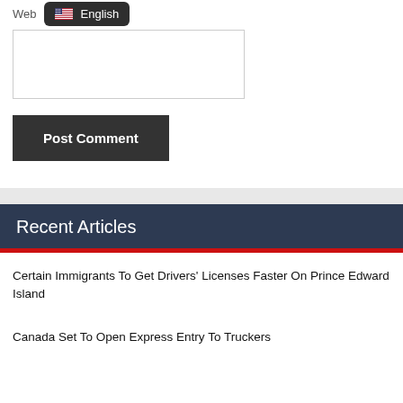Web
English
[Figure (screenshot): Text input textarea box with border]
Post Comment
Recent Articles
Certain Immigrants To Get Drivers' Licenses Faster On Prince Edward Island
Canada Set To Open Express Entry To Truckers